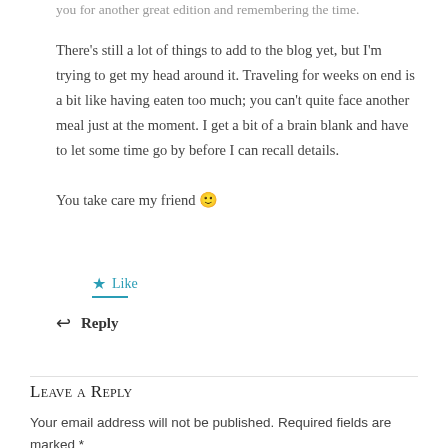you for another great edition and remembering the time.
There's still a lot of things to add to the blog yet, but I'm trying to get my head around it. Traveling for weeks on end is a bit like having eaten too much; you can't quite face another meal just at the moment. I get a bit of a brain blank and have to let some time go by before I can recall details.
You take care my friend 🙂
★ Like
↩ Reply
Leave a Reply
Your email address will not be published. Required fields are marked *